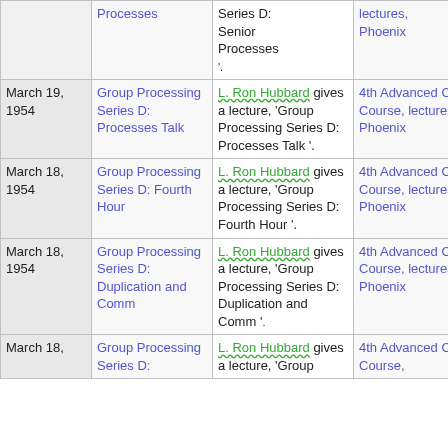| Date | Title | Description | Course |
| --- | --- | --- | --- |
|  | Group Processing Series D: Processes | Series D: Senior Processes '. | lectures, Phoenix |
| March 19, 1954 | Group Processing Series D: Processes Talk | L. Ron Hubbard gives a lecture, 'Group Processing Series D: Processes Talk '. | 4th Advanced Clinical Course, lectures, Phoenix |
| March 18, 1954 | Group Processing Series D: Fourth Hour | L. Ron Hubbard gives a lecture, 'Group Processing Series D: Fourth Hour '. | 4th Advanced Clinical Course, lectures, Phoenix |
| March 18, 1954 | Group Processing Series D: Duplication and Comm | L. Ron Hubbard gives a lecture, 'Group Processing Series D: Duplication and Comm '. | 4th Advanced Clinical Course, lectures, Phoenix |
| March 18, | Group Processing Series D: | L. Ron Hubbard gives a lecture, 'Group | 4th Advanced Clinical Course, |